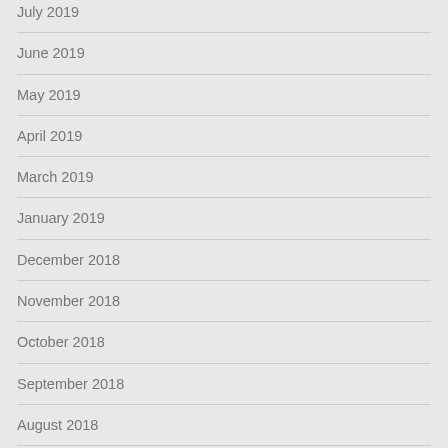July 2019
June 2019
May 2019
April 2019
March 2019
January 2019
December 2018
November 2018
October 2018
September 2018
August 2018
July 2018